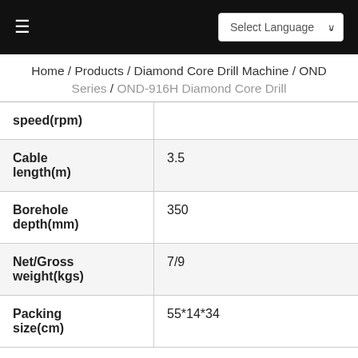≡  Select Language ∨
Home / Products / Diamond Core Drill Machine / OND Series / OND-916H Diamond Core Drill
| Property | Value |
| --- | --- |
| speed(rpm) |  |
| Cable length(m) | 3.5 |
| Borehole depth(mm) | 350 |
| Net/Gross weight(kgs) | 7/9 |
| Packing size(cm) | 55*14*34 |